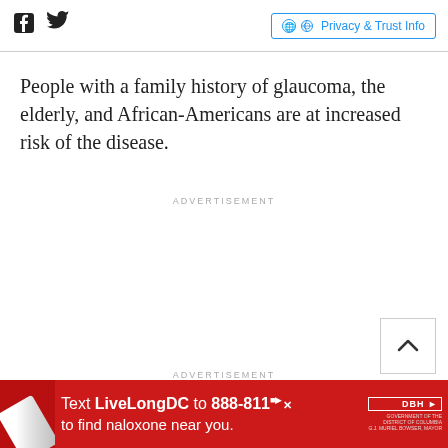Facebook Twitter Privacy & Trust Info
People with a family history of glaucoma, the elderly, and African-Americans are at increased risk of the disease.
ADVERTISEMENT
ADVERTISEMENT
[Figure (infographic): Red advertisement banner: Text LiveLongDC to 888-811 to find naloxone near you. DBH logo and government seal on right side, syringe image on left.]